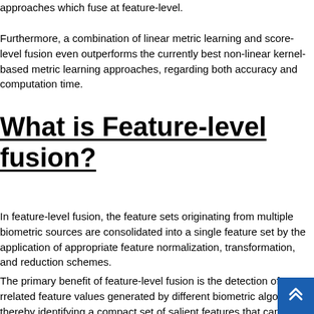approaches which fuse at feature-level.
Furthermore, a combination of linear metric learning and score-level fusion even outperforms the currently best non-linear kernel-based metric learning approaches, regarding both accuracy and computation time.
What is Feature-level fusion?
In feature-level fusion, the feature sets originating from multiple biometric sources are consolidated into a single feature set by the application of appropriate feature normalization, transformation, and reduction schemes.
The primary benefit of feature-level fusion is the detection of correlated feature values generated by different biometric algorithms thereby identifying a compact set of salient features that can improve